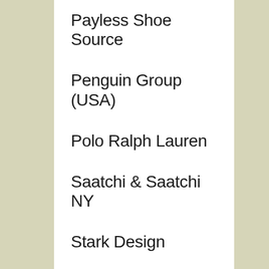Payless Shoe Source
Penguin Group (USA)
Polo Ralph Lauren
Saatchi & Saatchi NY
Stark Design
Stylecaster
Time Inc. Content Solutions